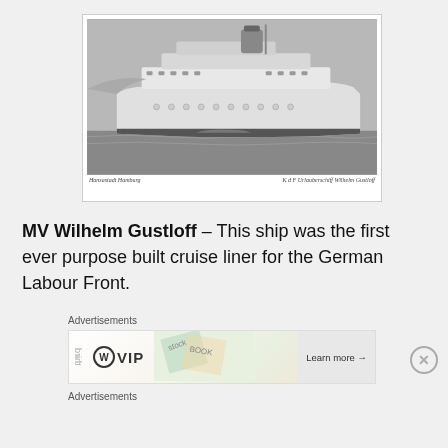[Figure (photo): Black and white photograph of MV Wilhelm Gustloff cruise ship at sea with smaller tugboats nearby. Caption reads: 'Hansastadt Hamburg' on the left and 'K d F Urlauberschiff Wilhelm Gustloff' on the right.]
MV Wilhelm Gustloff – This ship was the first ever purpose built cruise liner for the German Labour Front.
Advertisements
[Figure (screenshot): Advertisement banner showing WordPress VIP logo and 'Learn more →' button with decorative background imagery.]
Advertisements